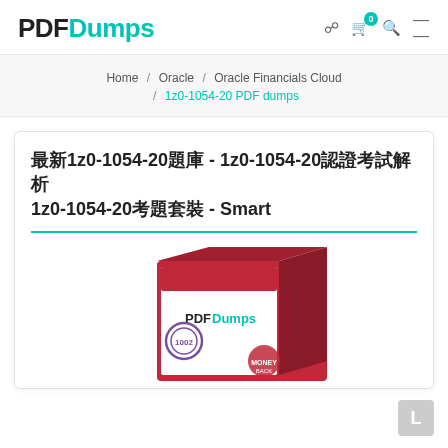PDFDumps
Home / Oracle / Oracle Financials Cloud / 1z0-1054-20 PDF dumps
最新1z0-1054-20題庫 - 1z0-1054-20認證考試解析 1z0-1054-20考題套裝 - Smart
[Figure (photo): PDFDumps product box with logo and certification badge]